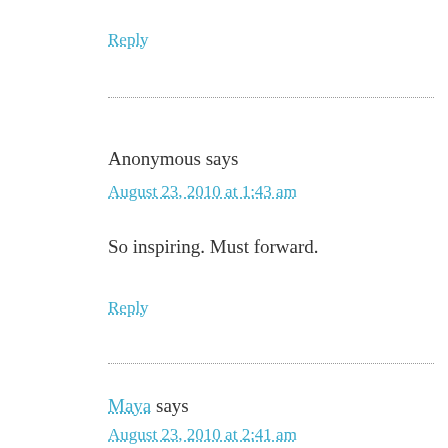Reply
Anonymous says
August 23, 2010 at 1:43 am
So inspiring. Must forward.
Reply
Maya says
August 23, 2010 at 2:41 am